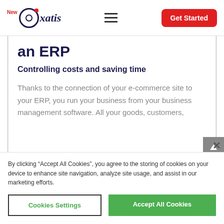NewOxatis — Get Started
an ERP
Controlling costs and saving time
Thanks to the connection of your e-commerce site to your ERP, you run your business from your business management software. All your goods, customers,
By clicking “Accept All Cookies”, you agree to the storing of cookies on your device to enhance site navigation, analyze site usage, and assist in our marketing efforts.
Cookies Settings
Accept All Cookies